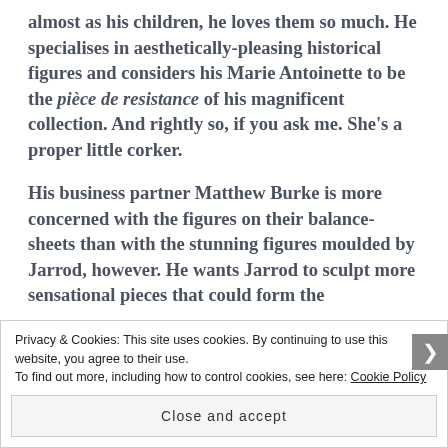almost as his children, he loves them so much. He specialises in aesthetically-pleasing historical figures and considers his Marie Antoinette to be the pièce de resistance of his magnificent collection. And rightly so, if you ask me. She's a proper little corker.

His business partner Matthew Burke is more concerned with the figures on their balance-sheets than with the stunning figures moulded by Jarrod, however. He wants Jarrod to sculpt more sensational pieces that could form the
Privacy & Cookies: This site uses cookies. By continuing to use this website, you agree to their use.
To find out more, including how to control cookies, see here: Cookie Policy
Close and accept